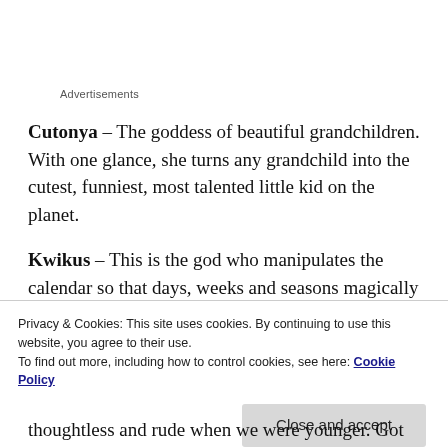Advertisements
Cutonya – The goddess of beautiful grandchildren. With one glance, she turns any grandchild into the cutest, funniest, most talented little kid on the planet.
Kwikus – This is the god who manipulates the calendar so that days, weeks and seasons magically dis…
Privacy & Cookies: This site uses cookies. By continuing to use this website, you agree to their use.
To find out more, including how to control cookies, see here: Cookie Policy
Close and accept
thoughtless and rude when we were younger. Got